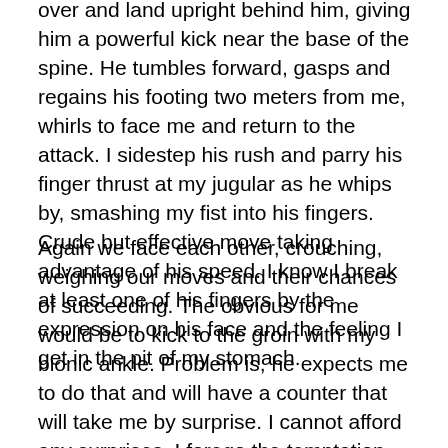over and land upright behind him, giving him a powerful kick near the base of the spine. He tumbles forward, gasps and regains his footing two meters from me, whirls to face me and return to the attack. I sidestep his rush and parry his finger thrust at my jugular as he whips by, smashing my fist into his fingers. Crude but effective move taking advantage of his speed. I know I break at least one of his fingers by the expression on his face and the feeling I get in the pit of my stomach.
Again we face each other, crouching, weighing our moves and their chances of succeeding. The obvious for me would be to kick to the groin with my bionic ankle. Problem is, he expects me to do that and will have a counter that will take me by surprise. I cannot afford any surprises. I forego the temptation and back away a single step. He follows, comes forward and moves in closer. I can smell